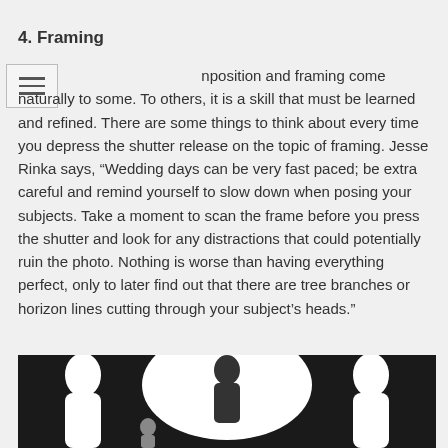4. Framing
Composition and framing come naturally to some. To others, it is a skill that must be learned and refined. There are some things to think about every time you depress the shutter release on the topic of framing. Jesse Rinka says, “Wedding days can be very fast paced; be extra careful and remind yourself to slow down when posing your subjects. Take a moment to scan the frame before you press the shutter and look for any distractions that could potentially ruin the photo. Nothing is worse than having everything perfect, only to later find out that there are tree branches or horizon lines cutting through your subject’s heads.”
[Figure (photo): Black and white photo showing silhouettes of people, with a large white circular/oval shape in the center against a dark background]